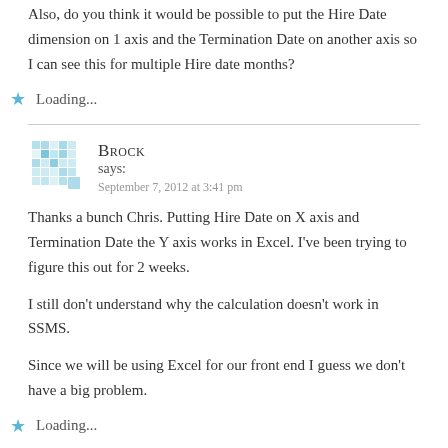Also, do you think it would be possible to put the Hire Date dimension on 1 axis and the Termination Date on another axis so I can see this for multiple Hire date months?
Loading...
Brock says: September 7, 2012 at 3:41 pm
Thanks a bunch Chris. Putting Hire Date on X axis and Termination Date the Y axis works in Excel. I've been trying to figure this out for 2 weeks.
I still don't understand why the calculation doesn't work in SSMS.
Since we will be using Excel for our front end I guess we don't have a big problem.
Loading...